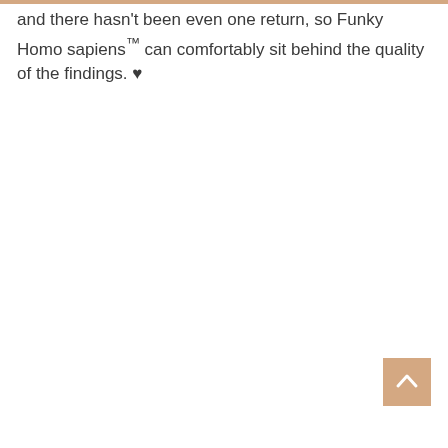and there hasn't been even one return, so Funky Homo sapiens™ can comfortably sit behind the quality of the findings. ♥
[Figure (other): Back to top arrow button — a square button with a sandy/tan background color containing an upward-pointing chevron/arrow icon in white.]